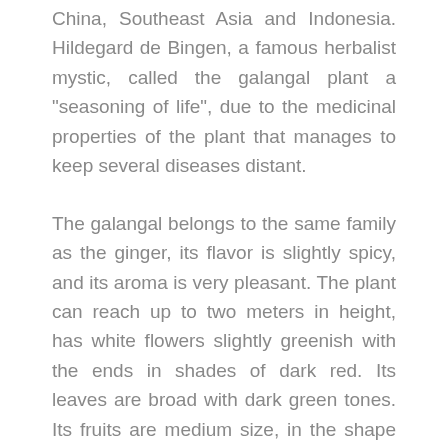China, Southeast Asia and Indonesia. Hildegard de Bingen, a famous herbalist mystic, called the galangal plant a "seasoning of life", due to the medicinal properties of the plant that manages to keep several diseases distant.
The galangal belongs to the same family as the ginger, its flavor is slightly spicy, and its aroma is very pleasant. The plant can reach up to two meters in height, has white flowers slightly greenish with the ends in shades of dark red. Its leaves are broad with dark green tones. Its fruits are medium size, in the shape of red berries.
Health benefits:
Those who regularly eat galanga tea have a simpler and more natural digestion, without pain or discomfort. And in the case of problems like diarrhea, vomiting and